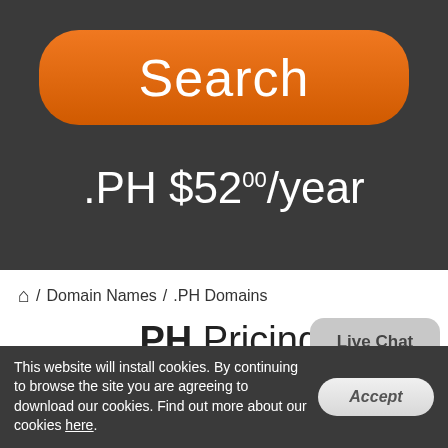[Figure (screenshot): Orange rounded Search button on dark background]
.PH $52.00/year
/ Domain Names / .PH Domains
.PH Pricing
| TLD | 1 Year | 2 years | 5 years |
| --- | --- | --- | --- |
This website will install cookies. By continuing to browse the site you are agreeing to download our cookies. Find out more about our cookies here.